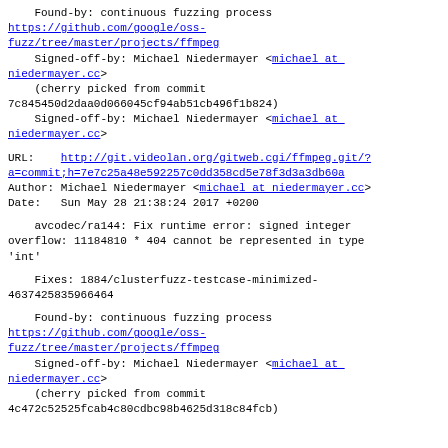Found-by: continuous fuzzing process
https://github.com/google/oss-fuzz/tree/master/projects/ffmpeg
    Signed-off-by: Michael Niedermayer <michael at niedermayer.cc>
    (cherry picked from commit
7c845450d2daa0d066045cf94ab51cb496f1b824)
    Signed-off-by: Michael Niedermayer <michael at niedermayer.cc>
URL:    http://git.videolan.org/gitweb.cgi/ffmpeg.git/?a=commit;h=7e7c25a48e592257c0dd358cd5e78f3d3a3db60a
Author: Michael Niedermayer <michael at niedermayer.cc>
Date:   Sun May 28 21:38:24 2017 +0200
avcodec/ra144: Fix runtime error: signed integer overflow: 11184810 * 404 cannot be represented in type 'int'
Fixes: 1884/clusterfuzz-testcase-minimized-4637425835966464
Found-by: continuous fuzzing process
https://github.com/google/oss-fuzz/tree/master/projects/ffmpeg
    Signed-off-by: Michael Niedermayer <michael at niedermayer.cc>
    (cherry picked from commit
4c472c52525fcab4c80cdbc98b4625d318c84fcb)